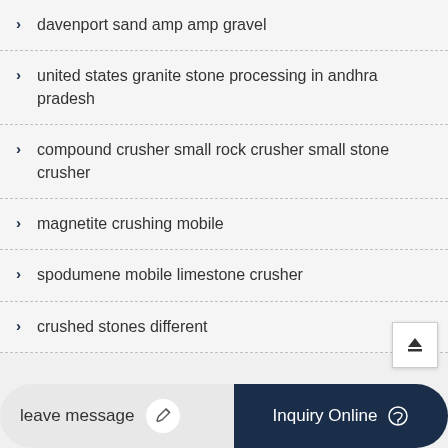davenport sand amp amp gravel
united states granite stone processing in andhra pradesh
compound crusher small rock crusher small stone crusher
magnetite crushing mobile
spodumene mobile limestone crusher
crushed stones different
leave message
Inquiry Online